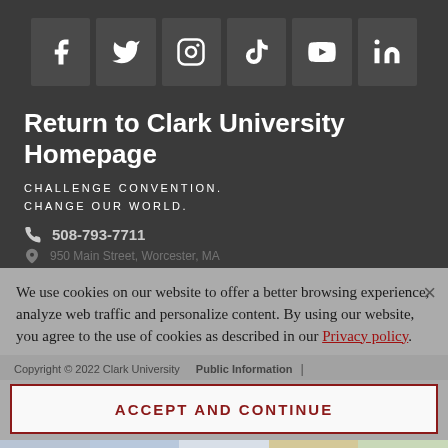[Figure (screenshot): Social media icons row: Facebook, Twitter, Instagram, TikTok, YouTube, LinkedIn on dark background]
Return to Clark University Homepage
CHALLENGE CONVENTION.
CHANGE OUR WORLD.
508-793-7711
We use cookies on our website to offer a better browsing experience, analyze web traffic and personalize content. By using our website, you agree to the use of cookies as described in our Privacy policy.
Copyright © 2022 Clark University    Public Information   |
ACCEPT AND CONTINUE